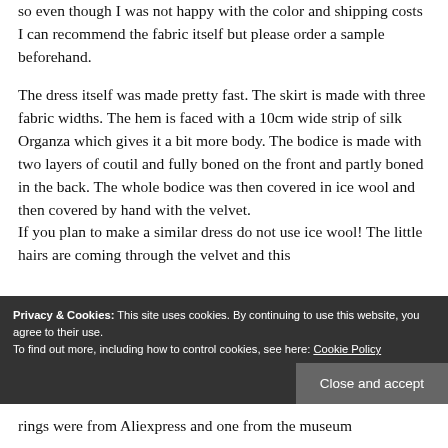so even though I was not happy with the color and shipping costs I can recommend the fabric itself but please order a sample beforehand.
The dress itself was made pretty fast. The skirt is made with three fabric widths. The hem is faced with a 10cm wide strip of silk Organza which gives it a bit more body. The bodice is made with two layers of coutil and fully boned on the front and partly boned in the back. The whole bodice was then covered in ice wool and then covered by hand with the velvet.
If you plan to make a similar dress do not use ice wool! The little hairs are coming through the velvet and this
Privacy & Cookies: This site uses cookies. By continuing to use this website, you agree to their use.
To find out more, including how to control cookies, see here: Cookie Policy
rings were from Aliexpress and one from the museum